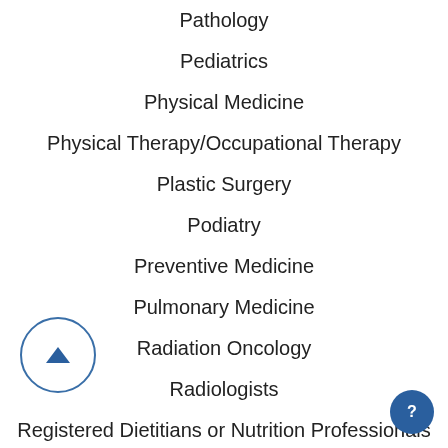Pathology
Pediatrics
Physical Medicine
Physical Therapy/Occupational Therapy
Plastic Surgery
Podiatry
Preventive Medicine
Pulmonary Medicine
Radiation Oncology
Radiologists
Registered Dietitians or Nutrition Professionals
Rheumatology